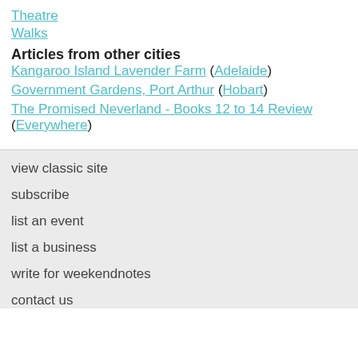Theatre
Walks
Articles from other cities
Kangaroo Island Lavender Farm (Adelaide)
Government Gardens, Port Arthur (Hobart)
The Promised Neverland - Books 12 to 14 Review (Everywhere)
view classic site
subscribe
list an event
list a business
write for weekendnotes
contact us